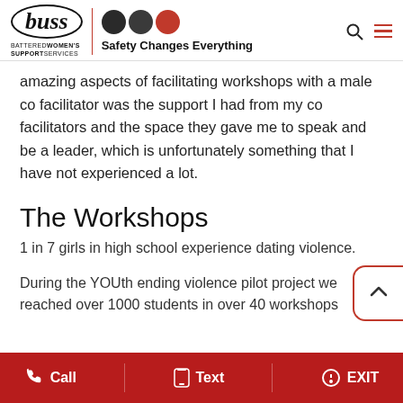[Figure (logo): BWSS (Battered Women's Support Services) logo with three circles (two dark, one red) and tagline 'Safety Changes Everything']
amazing aspects of facilitating workshops with a male co facilitator was the support I had from my co facilitators and the space they gave me to speak and be a leader, which is unfortunately something that I have not experienced a lot.
The Workshops
1 in 7 girls in high school experience dating violence.
During the YOUth ending violence pilot project we reached over 1000 students in over 40 workshops
Call   Text   EXIT